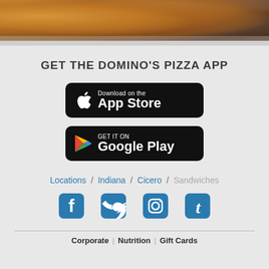[Figure (photo): Food photo strip showing pizza/sandwich items at top of page]
GET THE DOMINO'S PIZZA APP
[Figure (logo): Download on the App Store button (black rounded rectangle with Apple logo)]
[Figure (logo): GET IT ON Google Play button (black rounded rectangle with Google Play triangle logo)]
Locations / Indiana / Cicero / Sandwiches
[Figure (infographic): Social media icons: Facebook, Twitter, Instagram, Tumblr in blue]
Corporate | Nutrition | Gift Cards